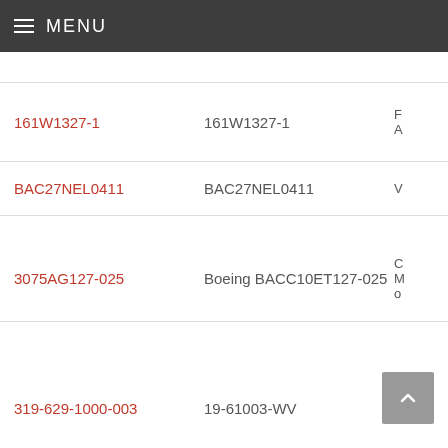MENU
| Part Number | Description | Extra |
| --- | --- | --- |
| 161W1327-1 | 161W1327-1 | F A |
| BAC27NEL0411 | BAC27NEL0411 | V |
| 3075AG127-025 | Boeing BACC10ET127-025 | C M o |
| 319-629-1000-003 (partial) | 19-61003-WV (partial) | In |